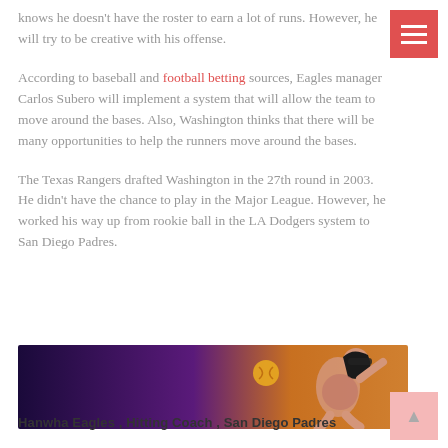knows he doesn't have the roster to earn a lot of runs. However, he will try to be creative with his offense.
According to baseball and football betting sources, Eagles manager Carlos Subero will implement a system that will allow the team to move around the bases. Also, Washington thinks that there will be many opportunities to help the runners move around the bases.
The Texas Rangers drafted Washington in the 27th round in 2003. He didn't have the chance to play in the Major League. However, he worked his way up from rookie ball in the LA Dodgers system to San Diego Padres.
[Figure (photo): Sports advertisement banner showing a female tennis player in action against a dark purple/black to golden background with a ball in the air.]
Hanwha Eagles,  Hitting Coach,  San Diego Padres